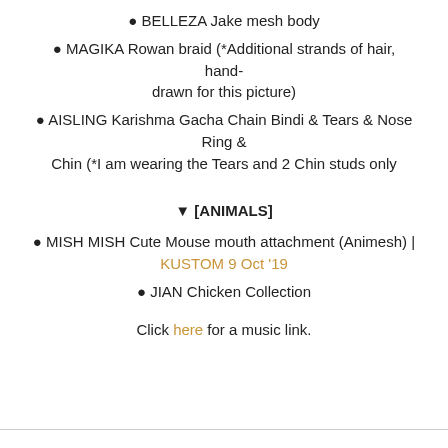BELLEZA Jake mesh body
MAGIKA Rowan braid (*Additional strands of hair, hand-drawn for this picture)
AISLING Karishma Gacha Chain Bindi & Tears & Nose Ring & Chin (*I am wearing the Tears and 2 Chin studs only
▼ [ANIMALS]
MISH MISH Cute Mouse mouth attachment (Animesh) | KUSTOM 9 Oct '19
JIAN Chicken Collection
Click here for a music link.